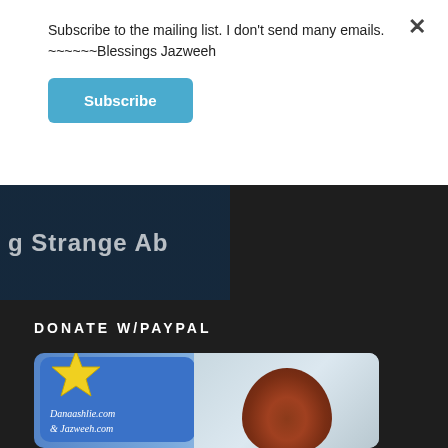Subscribe to the mailing list. I don't send many emails.
~~~~~~Blessings Jazweeh
Subscribe
[Figure (screenshot): Partial dark image with text 'g Strange Ab' visible, appears to be a video thumbnail or blog post image]
DONATE W/PAYPAL
[Figure (photo): Donate image showing a blue card with yellow star and text 'Danaashlie.com & Jazweeh.com' alongside a red-haired person viewed from behind against a cloudy sky]